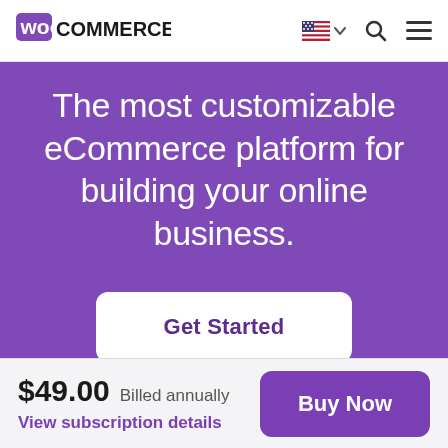WooCommerce navigation bar with logo, flag/language selector, search, and menu icons
The most customizable eCommerce platform for building your online business.
Get Started
$49.00  Billed annually  View subscription details  Buy Now